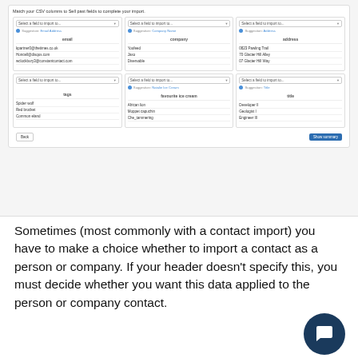[Figure (screenshot): CSV column matching UI with 6 field cards arranged in 2 rows of 3. Each card shows a dropdown 'Select a field to import to...' with a suggestion (Email Address, Company Name, Address, Natalie Ice Cream, Title). The data columns shown are: email, company, address, tags, favourite ice cream, title. Each column shows 3 sample data rows. Bottom has Back and Show summary buttons.]
Sometimes (most commonly with a contact import) you have to make a choice whether to import a contact as a person or company. If your header doesn't specify this, you must decide whether you want this data applied to the person or company contact.